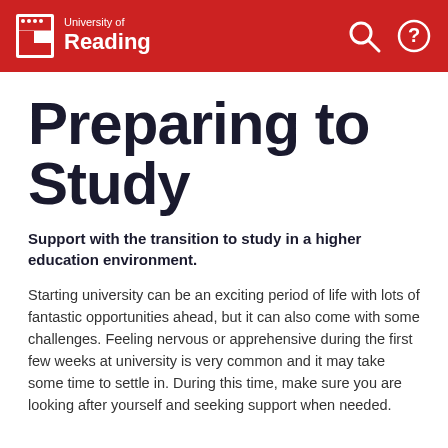University of Reading
Preparing to Study
Support with the transition to study in a higher education environment.
Starting university can be an exciting period of life with lots of fantastic opportunities ahead, but it can also come with some challenges. Feeling nervous or apprehensive during the first few weeks at university is very common and it may take some time to settle in. During this time, make sure you are looking after yourself and seeking support when needed.